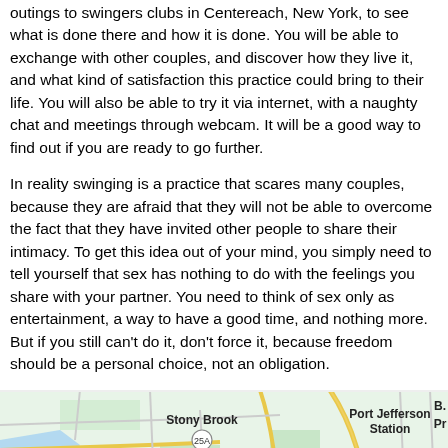outings to swingers clubs in Centereach, New York, to see what is done there and how it is done. You will be able to exchange with other couples, and discover how they live it, and what kind of satisfaction this practice could bring to their life. You will also be able to try it via internet, with a naughty chat and meetings through webcam. It will be a good way to find out if you are ready to go further.
In reality swinging is a practice that scares many couples, because they are afraid that they will not be able to overcome the fact that they have invited other people to share their intimacy. To get this idea out of your mind, you simply need to tell yourself that sex has nothing to do with the feelings you share with your partner. You need to think of sex only as entertainment, a way to have a good time, and nothing more. But if you still can't do it, don't force it, because freedom should be a personal choice, not an obligation.
[Figure (map): Google Maps view showing Stony Brook, Port Jefferson Station, and surrounding Long Island, New York area with roads and water features.]